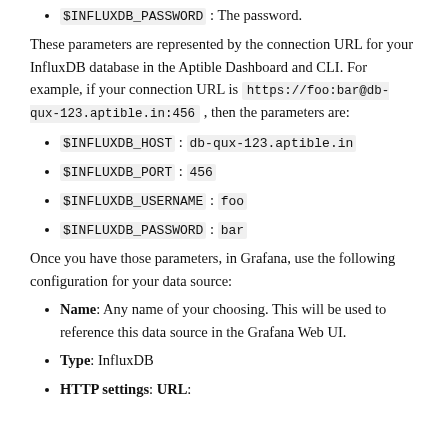$INFLUXDB_PASSWORD: The password.
These parameters are represented by the connection URL for your InfluxDB database in the Aptible Dashboard and CLI. For example, if your connection URL is https://foo:bar@db-qux-123.aptible.in:456 , then the parameters are:
$INFLUXDB_HOST : db-qux-123.aptible.in
$INFLUXDB_PORT : 456
$INFLUXDB_USERNAME : foo
$INFLUXDB_PASSWORD : bar
Once you have those parameters, in Grafana, use the following configuration for your data source:
Name: Any name of your choosing. This will be used to reference this data source in the Grafana Web UI.
Type: InfluxDB
HTTP settings: URL: